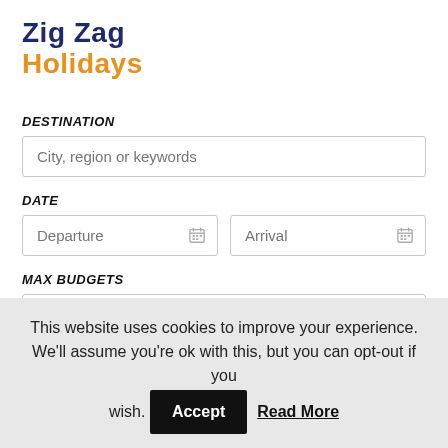Zig Zag Holidays
DESTINATION
City, region or keywords
DATE
Departure
Arrival
MAX BUDGETS
USD EX. 100
This website uses cookies to improve your experience. We'll assume you're ok with this, but you can opt-out if you wish.
Accept
Read More